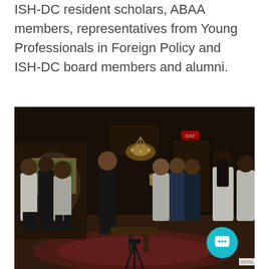ISH-DC resident scholars, ABAA members, representatives from Young Professionals in Foreign Policy and ISH-DC board members and alumni.
[Figure (photo): Indoor gathering of young professionals and scholars in a wood-paneled room with a chandelier, art on the walls, and a patterned rug. People are standing in groups, socializing.]